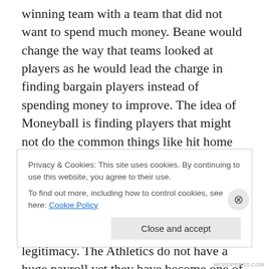winning team with a team that did not want to spend much money. Beane would change the way that teams looked at players as he would lead the charge in finding bargain players instead of spending money to improve. The idea of Moneyball is finding players that might not do the common things like hit home runs or earn RBIs but that do things that help teams win games. Billy Beane remains the GM of the Oakland Athletics and Moneyball is still the way they operate and it is beginning to gain more legitimacy. The Athletics do not have a huge payroll yet they have become one of the fastest rising teams in the MLB. They are now
Privacy & Cookies: This site uses cookies. By continuing to use this website, you agree to their use.
To find out more, including how to control cookies, see here: Cookie Policy